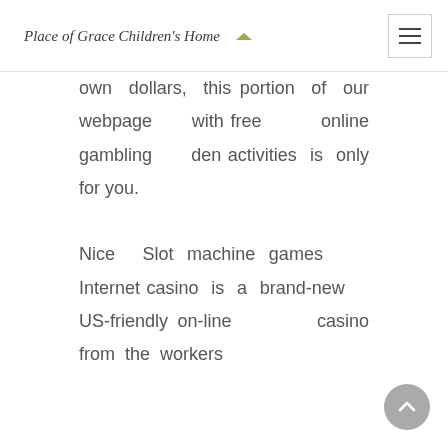Place of Grace Children's Home
own dollars, this portion of our webpage with free online gambling den activities is only for you.

Nice Slot machine games Internet casino is a brand-new US-friendly on-line casino from the workers
[Figure (other): Back to top arrow button, circular grey button with upward chevron]